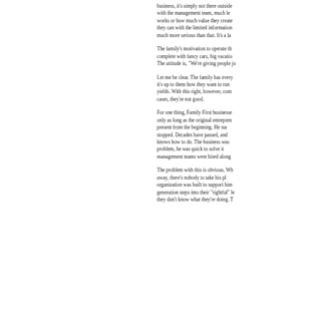business, it's simply not there outside of it. Investors who aren't connected with the management team, much less understand how the business works or how much value they create. They do they best they can with the limited information they have access to. But the problem is much more serious than that. It's a lac...
The family's motivation to operate the business is a lavish lifestyle, complete with fancy cars, big vacations and the best of everything. The attitude is, "We're giving people jo...
Let me be clear. The family has every right to own the business and it's up to them how they want to run it and what return it yields. With this right, however, com... cases, they're not good.
For one thing, Family First businesses tend to work well only as long as the original entrepreneur is around. He was present from the beginning. He star... stopped. Decades have passed, and... knows how to do. The business was... problem, he was quick to solve i... management teams were hired along...
The problem with this is obvious. Wh... away, there's nobody to take his pl... organization was built to support him... generation steps into their "rightful" lea... they don't know what they're doing. T...